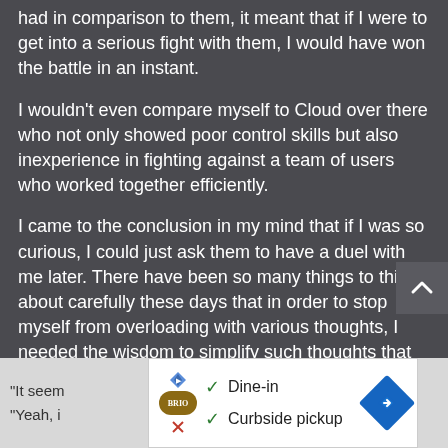had in comparison to them, it meant that if I were to get into a serious fight with them, I would have won the battle in an instant.
I wouldn't even compare myself to Cloud over there who not only showed poor control skills but also inexperience in fighting against a team of users who worked together efficiently.
I came to the conclusion in my mind that if I was so curious, I could just ask them to have a duel with me later. There have been so many things to think about carefully these days that in order to stop myself from overloading with various thoughts, I needed the wisdom to simplify such thoughts that way.
"It seem... "Yeah, i...
[Figure (other): Advertisement banner showing Brio restaurant logo with options: checkmark Dine-in, checkmark Curbside pickup, and a blue navigation/directions diamond icon on the right.]